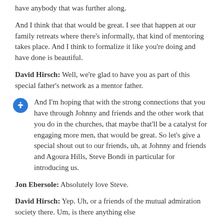have anybody that was further along.
And I think that that would be great. I see that happen at our family retreats where there's informally, that kind of mentoring takes place. And I think to formalize it like you're doing and have done is beautiful.
David Hirsch: Well, we're glad to have you as part of this special father's network as a mentor father.
And I'm hoping that with the strong connections that you have through Johnny and friends and the other work that you do in the churches, that maybe that'll be a catalyst for engaging more men, that would be great. So let's give a special shout out to our friends, uh, at Johnny and friends and Agoura Hills, Steve Bondi in particular for introducing us.
Jon Ebersole: Absolutely love Steve.
David Hirsch: Yep. Uh, or a friends of the mutual admiration society there. Um, is there anything else